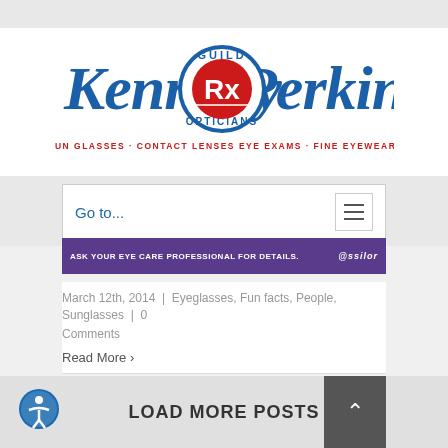[Figure (logo): Kennedy Guild Perkins Opticians logo with circular Rx emblem. Text reads: Kennedy Perkins, Guild Opticians, SUN GLASSES · CONTACT LENSES, EYE EXAMS · FINE EYEWEAR. Blue script text with red accents.]
Go to...
[Figure (screenshot): Purple advertisement banner with white text: ASK YOUR EYE CARE PROFESSIONAL FOR DETAILS. Essilor logo on right.]
March 12th, 2014  |  Eyeglasses, Fun facts, People, Sunglasses  |  0 Comments
Read More >
LOAD MORE POSTS